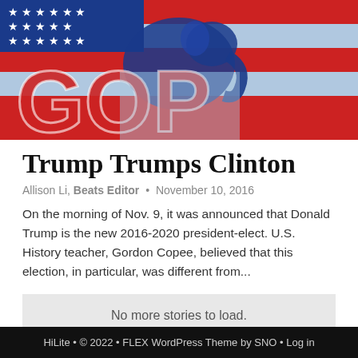[Figure (photo): Republican elephant logo on a red, white, and blue American flag background — GOP/Republican Party decorative image used as article hero]
Trump Trumps Clinton
Allison Li, Beats Editor • November 10, 2016
On the morning of Nov. 9, it was announced that Donald Trump is the new 2016-2020 president-elect. U.S. History teacher, Gordon Copee, believed that this election, in particular, was different from...
No more stories to load.
HiLite • © 2022 • FLEX WordPress Theme by SNO • Log in